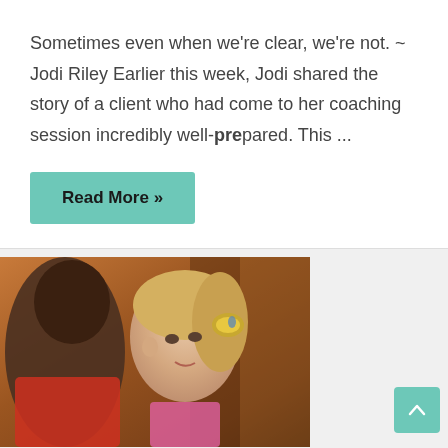Sometimes even when we're clear, we're not. ~ Jodi Riley Earlier this week, Jodi shared the story of a client who had come to her coaching session incredibly well-prepared. This ...
Read More »
[Figure (photo): Two children, a boy in red shirt seen from behind and a girl with blonde hair in a pink top, appear to be talking or interacting closely, with a warm wooden background.]